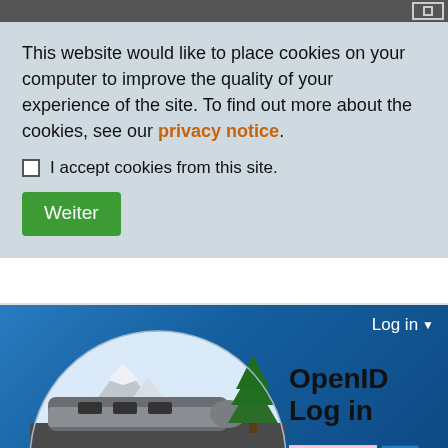This website would like to place cookies on your computer to improve the quality of your experience of the site. To find out more about the cookies, see our privacy notice.
I accept cookies from this site.
Weiter
[Figure (logo): Simutrans Transport Simulator logo showing a high-speed train, snow-capped mountains, and a green evergreen tree under a dome-shaped sky]
Simutrans Transport Simulator
Log in
OpenID Log in
What is